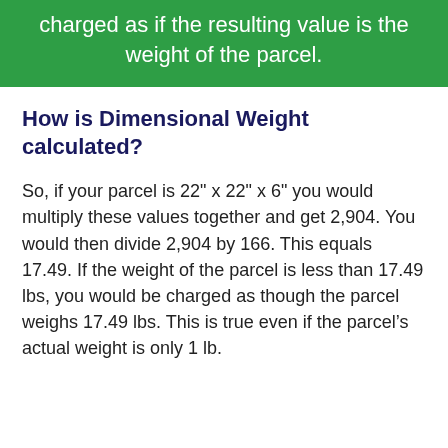charged as if the resulting value is the weight of the parcel.
How is Dimensional Weight calculated?
So, if your parcel is 22" x 22" x 6" you would multiply these values together and get 2,904. You would then divide 2,904 by 166. This equals 17.49. If the weight of the parcel is less than 17.49 lbs, you would be charged as though the parcel weighs 17.49 lbs. This is true even if the parcel’s actual weight is only 1 lb.